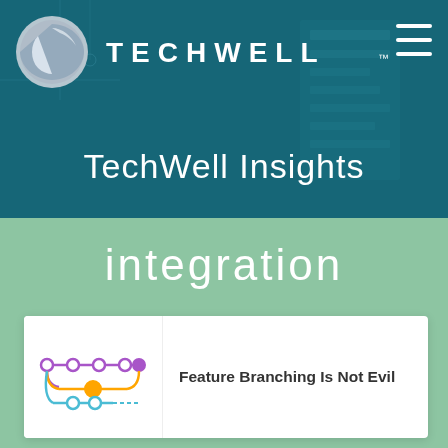[Figure (logo): TechWell logo with circular silver icon and TECHWELL text in white on dark teal banner background with technology overlay graphics]
TechWell Insights
integration
[Figure (illustration): Network branching diagram showing purple, yellow/orange, and light blue branch lines with circular nodes, representing feature branching in version control]
Feature Branching Is Not Evil